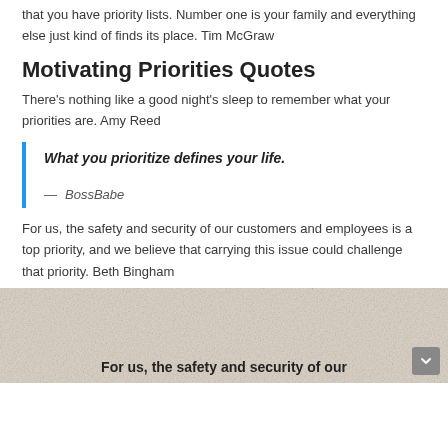that you have priority lists. Number one is your family and everything else just kind of finds its place. Tim McGraw
Motivating Priorities Quotes
There's nothing like a good night's sleep to remember what your priorities are. Amy Reed
What you prioritize defines your life.
— BossBabe
For us, the safety and security of our customers and employees is a top priority, and we believe that carrying this issue could challenge that priority. Beth Bingham
[Figure (photo): Light textured background image with bold text overlay reading 'For us, the safety and security of our']